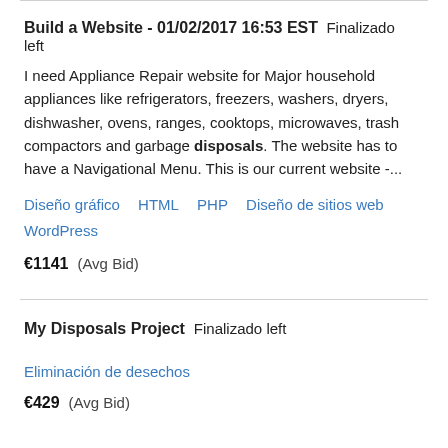Build a Website - 01/02/2017 16:53 EST  Finalizado left
I need Appliance Repair website for Major household appliances like refrigerators, freezers, washers, dryers, dishwasher, ovens, ranges, cooktops, microwaves, trash compactors and garbage disposals. The website has to have a Navigational Menu. This is our current website -...
Diseño gráfico  HTML  PHP  Diseño de sitios web  WordPress
€1141  (Avg Bid)
My Disposals Project  Finalizado left
Eliminación de desechos
€429  (Avg Bid)